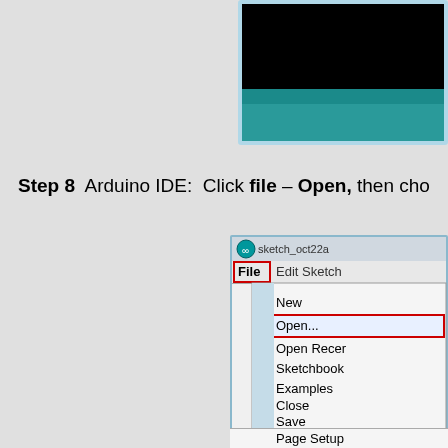[Figure (screenshot): Partial screenshot of Arduino IDE window showing teal/dark interface, top-right corner]
Step 8  Arduino IDE:  Click file – Open, then cho
[Figure (screenshot): Arduino IDE File menu dropdown showing options: New, Open... (highlighted with red box), Open Recent, Sketchbook, Examples, Close, Save, Save As..., Page Setup. Title bar shows sketch_oct22a. File menu item highlighted with red box.]